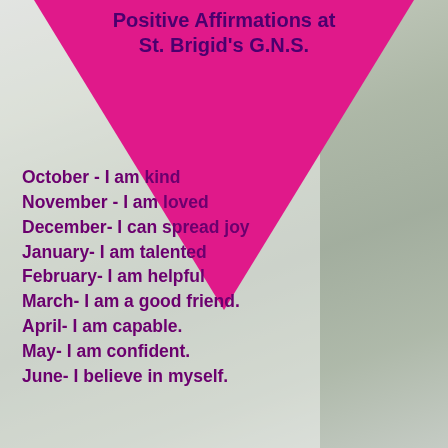[Figure (photo): Background photo of a school exterior with trees, fence, and buildings, muted/faded]
Positive Affirmations at St. Brigid's G.N.S.
October  - I am kind
November  - I am loved
December- I can spread joy
January- I am talented
February- I am helpful
March- I am a good friend.
April- I am capable.
May- I am confident.
June-  I believe in myself.